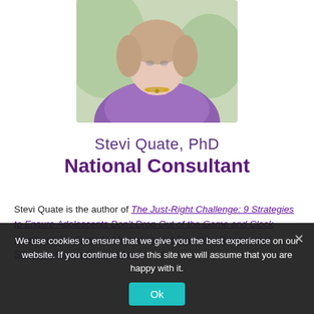[Figure (photo): Headshot photo of Stevi Quate, a woman wearing a purple cardigan and a necklace, photographed from the shoulders up against a soft outdoor background.]
Stevi Quate, PhD
National Consultant
Stevi Quate is the author of The Just-Right Challenge: 9 Strategies to Ensure Adolescents Don't Drop Out of the Game and Clock Watchers: Six Steps to Motivating and Engaging Disengaged Students Across Content Areas (both…
We use cookies to ensure that we give you the best experience on our website. If you continue to use this site we will assume that you are happy with it.